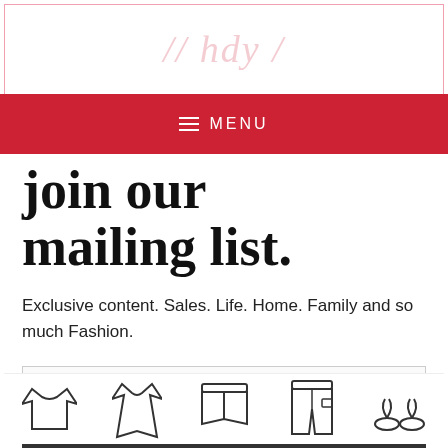join our mailing list.
Exclusive content.  Sales.  Life.  Home.  Family and so much Fashion.
[Figure (screenshot): Email address input field placeholder]
[Figure (screenshot): Subscribe button]
[Figure (illustration): Fashion icons: t-shirt, dress, shorts, pants, flip flops]